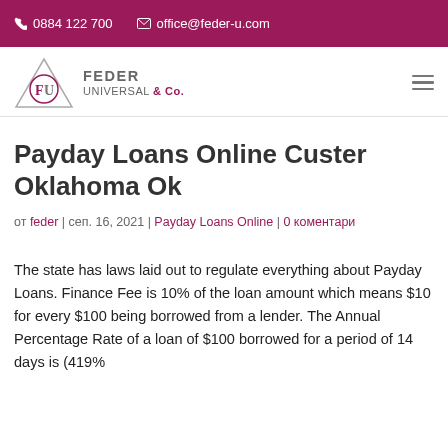0884 122 700 | office@feder-u.com
[Figure (logo): Feder Universal & Co. logo with triangle and FU monogram]
Payday Loans Online Custer Oklahoma Ok
от feder | сеп. 16, 2021 | Payday Loans Online | 0 коментари
The state has laws laid out to regulate everything about Payday Loans. Finance Fee is 10% of the loan amount which means $10 for every $100 being borrowed from a lender. The Annual Percentage Rate of a loan of $100 borrowed for a period of 14 days is (419%